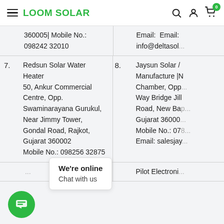LOOM SOLAR
| # | Entry | # | Entry |
| --- | --- | --- | --- |
|  | 360005| Mobile No.: 098242 32010 |  | Email: Email: info@deltasol... |
| 7. | Redsun Solar Water Heater
50, Ankur Commercial Centre, Opp. Swaminarayana Gurukul, Near Jimmy Tower, Gondal Road, Rajkot, Gujarat 360002
Mobile No.: 098256 32875 | 8. | Jaysun Solar / Manufacture |N Chamber, Opp. Way Bridge Jill Road, New Bap Gujarat 36000: Mobile No.: 078 Email: salesjay |
|  | ... |  | Pilot Electroni... |
We're online
Chat with us